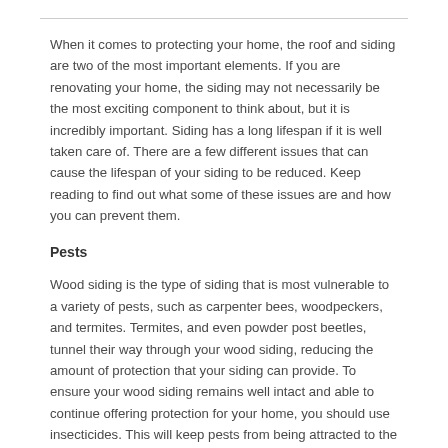When it comes to protecting your home, the roof and siding are two of the most important elements. If you are renovating your home, the siding may not necessarily be the most exciting component to think about, but it is incredibly important. Siding has a long lifespan if it is well taken care of. There are a few different issues that can cause the lifespan of your siding to be reduced. Keep reading to find out what some of these issues are and how you can prevent them.
Pests
Wood siding is the type of siding that is most vulnerable to a variety of pests, such as carpenter bees, woodpeckers, and termites. Termites, and even powder post beetles, tunnel their way through your wood siding, reducing the amount of protection that your siding can provide. To ensure your wood siding remains well intact and able to continue offering protection for your home, you should use insecticides. This will keep pests from being attracted to the siding on your home.